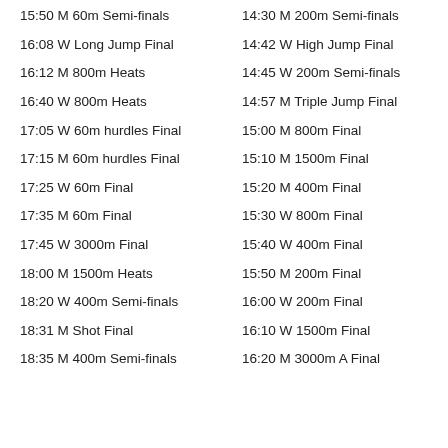15:50 M 60m Semi-finals
16:08 W Long Jump Final
16:12 M 800m Heats
16:40 W 800m Heats
17:05 W 60m hurdles Final
17:15 M 60m hurdles Final
17:25 W 60m Final
17:35 M 60m Final
17:45 W 3000m Final
18:00 M 1500m Heats
18:20 W 400m Semi-finals
18:31 M Shot Final
18:35 M 400m Semi-finals
14:30 M 200m Semi-finals
14:42 W High Jump Final
14:45 W 200m Semi-finals
14:57 M Triple Jump Final
15:00 M 800m Final
15:10 M 1500m Final
15:20 M 400m Final
15:30 W 800m Final
15:40 W 400m Final
15:50 M 200m Final
16:00 W 200m Final
16:10 W 1500m Final
16:20 M 3000m A Final